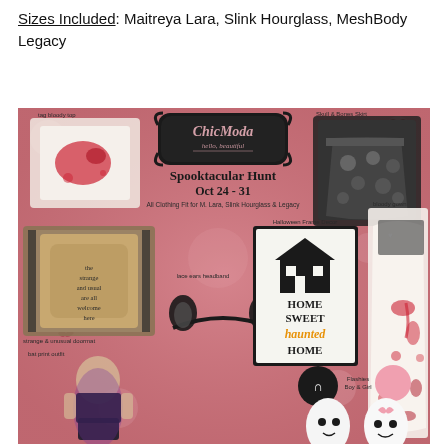Sizes Included: Maitreya Lara, Slink Hourglass, MeshBody Legacy
[Figure (illustration): Promotional image for ChicModa Spooktacular Hunt Oct 24-31, showing various Halloween-themed virtual fashion items including a bloody top, skull & bones skirt, bloody gown, lace cats headband, strange & unusual doormat, Halloween frame decor saying 'Home Sweet Haunted Home', bat print outfit, and ghost characters with balloons labeled 'Flashies Boy & Girl'. Text reads: All Clothing Fit for M. Lara, Slink Hourglass & Legacy.]